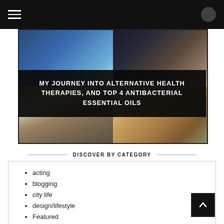Navigation bar with hamburger menu
[Figure (photo): Collage of four photos: top-left a blue essential oil diffuser with mist, top-right a person applying essential oil to their skin, bottom-left a brown essential oil dropper bottle on a wooden surface, bottom-right a wooden cutting board with purple lavender flowers]
MY JOURNEY INTO ALTERNATIVE HEALTH THERAPIES, AND TOP 4 ANTIBACTERIAL ESSENTIAL OILS
DISCOVER BY CATEGORY
acting
blogging
city life
design/lifestyle
Featured